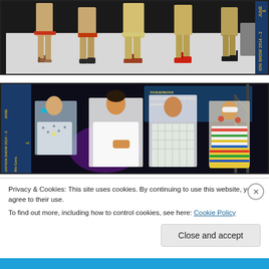[Figure (photo): Fashion show runway photo showing models' legs and feet walking on a white runway, wearing colorful skirts and heels. A vertical banner on the right reads 'ION SHOW 2014 – 2nd JUNE' in yellow text.]
[Figure (photo): Fashion graduation show 2014 photo showing several women including models wearing colorful outfits and sunglasses on stage with a purple-lit backdrop. A banner reads 'FASHIONOVA GRADUATION SHOW 2014 – FASHION DESIGN'. Vertical sidebar text on left reads 'UATION SHOW 2014 – 2nd JUNE' and 'Rhi Gorla'.]
Privacy & Cookies: This site uses cookies. By continuing to use this website, you agree to their use.
To find out more, including how to control cookies, see here: Cookie Policy
Close and accept